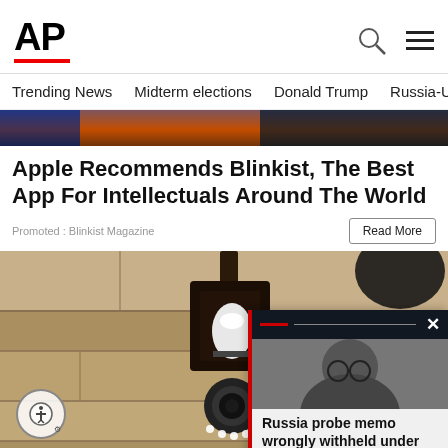AP
Trending News  Midterm elections  Donald Trump  Russia-Ukr
[Figure (photo): Hero image strip - dark blue and orange tones, partial news photo]
Apple Recommends Blinkist, The Best App For Intellectuals Around The World
Promoted : Blinkist Magazine
Read More
[Figure (photo): Main article image showing a security camera mounted on a stone wall with a lantern fixture]
[Figure (photo): Breakout card with photo of man with glasses (Barr) and text: Russia probe memo wrongly withheld under Barr, court ...]